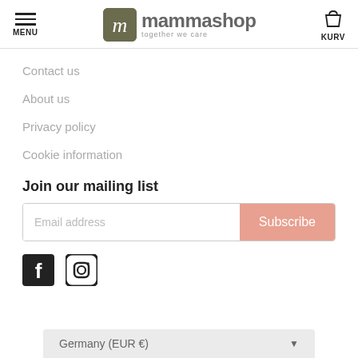MENU | mammashop together we care | KURV
Contact us
About us
Privacy policy
Cookie information
Join our mailing list
Email address | Subscribe
[Figure (other): Facebook and Instagram social media icons]
Germany (EUR €)